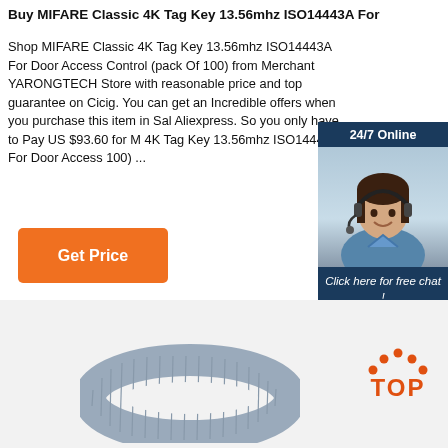Buy MIFARE Classic 4K Tag Key 13.56mhz ISO14443A For
Shop MIFARE Classic 4K Tag Key 13.56mhz ISO14443A For Door Access Control (pack Of 100) from Merchant YARONGTECH Store with reasonable price and top guarantee on Cicig. You can get an Incredible offers when you purchase this item in Sale Aliexpress. So you only have to Pay US $93.60 for MIFARE Classic 4K Tag Key 13.56mhz ISO14443A For Door Access Control (pack Of 100) ...
[Figure (illustration): Customer service chat widget with a woman wearing a headset, '24/7 Online' header, 'Click here for free chat!' text, and 'QUOTATION' orange button]
[Figure (other): Orange 'Get Price' button]
[Figure (photo): Product image of a grey wristband/tag, and a 'TOP' badge with orange dots above the text in the bottom right]
[Figure (logo): TOP badge with orange/red dot pattern and orange TOP text]